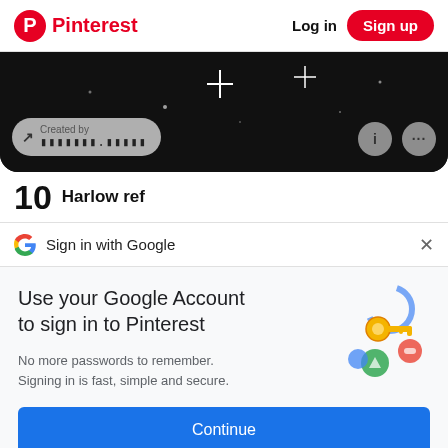Pinterest  Log in  Sign up
[Figure (screenshot): Dark black background image with sparkle/star light effects, a 'Created by' badge pill in bottom-left with arrow icon and redacted username, and two circular icon buttons (info and more) on bottom-right]
10  Harlow ref
G  Sign in with Google  ×
Use your Google Account to sign in to Pinterest
No more passwords to remember.
Signing in is fast, simple and secure.
[Figure (illustration): Google account illustration showing a golden key and colorful circular icons representing Google account security]
Continue